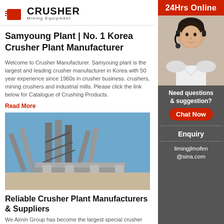[Figure (logo): Crusher Mining Equipment logo with red shopping bag icon and bold black CRUSHER text, subtitle Mining Equipment]
Samyoung Plant | No. 1 Korea Crusher Plant Manufacturer
Welcome to Crusher Manufacturer. Samyoung plant is the largest and leading crusher manufacturer in Korea with 50 year experience since 1960s in crusher business. crushers, mining crushers and industrial mills. Please click the link below for Catalogue of Crushing Products.
Read More
[Figure (photo): Industrial crusher plant machinery with conveyor belts against blue sky]
Reliable Crusher Plant Manufacturers & Suppliers
We Aimin Group has become the largest special crusher
[Figure (infographic): 24Hrs Online sidebar with customer service representative, Need questions & suggestion? Chat Now button, Enquiry section, limingjlmofen@sina.com email]